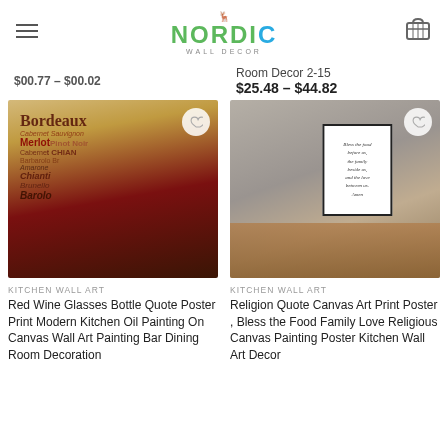NORDIC WALL DECOR
$00.77 – $00.02
Room Decor 2-15
$25.48 – $44.82
[Figure (photo): Red wine bottle and glass with wine-related words printed on canvas in vintage style, displayed on a white wall]
KITCHEN WALL ART
Red Wine Glasses Bottle Quote Poster Print Modern Kitchen Oil Painting On Canvas Wall Art Painting Bar Dining Room Decoration
[Figure (photo): Framed religious quote poster reading 'Bless the food before us, the family beside us, and the love between us. Amen.' displayed on a grey wall above a wooden dining table with black chairs]
KITCHEN WALL ART
Religion Quote Canvas Art Print Poster , Bless the Food Family Love Religious Canvas Painting Poster Kitchen Wall Art Decor